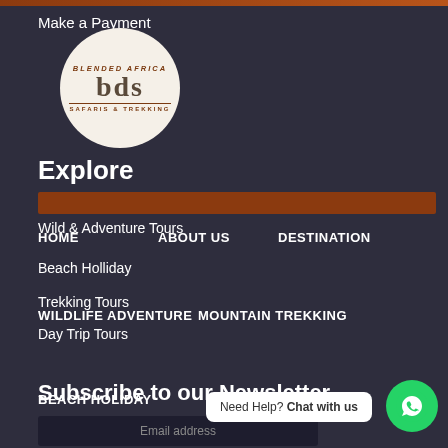Make a Payment
[Figure (logo): BDS Blended Africa Safaris & Trekking circular logo with brown text on white background]
Explore
Wild & Adventure Tours
HOME    ABOUT US    DESTINATION
Beach Holliday
Trekking Tours
WILDLIFE ADVENTURE    MOUNTAIN TREKKING
Day Trip Tours
Subscribe to our Newsletter
BEACH HOLIDAY    CONTACT
Email address
Need Help? Chat with us